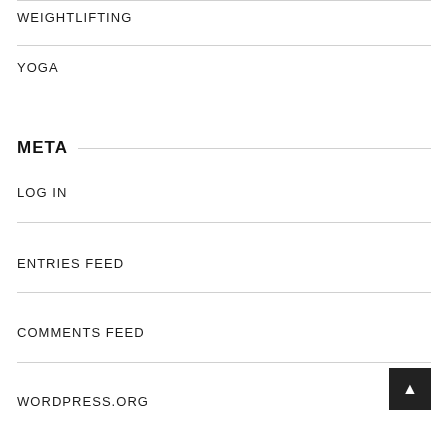WEIGHTLIFTING
YOGA
META
LOG IN
ENTRIES FEED
COMMENTS FEED
WORDPRESS.ORG